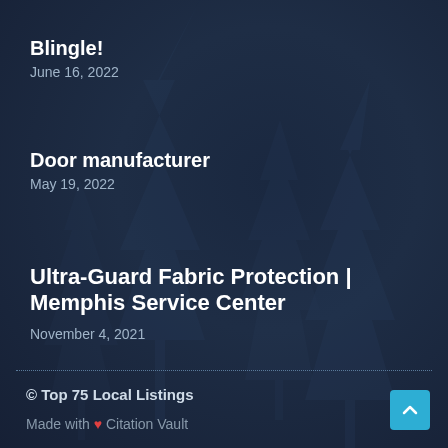Blingle!
June 16, 2022
Door manufacturer
May 19, 2022
Ultra-Guard Fabric Protection | Memphis Service Center
November 4, 2021
© Top 75 Local Listings
Made with ❤ Citation Vault